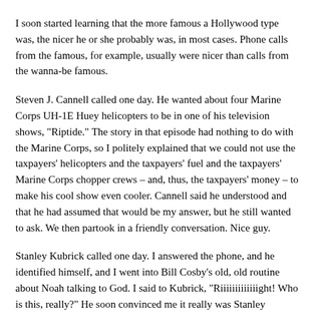I soon started learning that the more famous a Hollywood type was, the nicer he or she probably was, in most cases. Phone calls from the famous, for example, usually were nicer than calls from the wanna-be famous.
Steven J. Cannell called one day. He wanted about four Marine Corps UH-1E Huey helicopters to be in one of his television shows, "Riptide." The story in that episode had nothing to do with the Marine Corps, so I politely explained that we could not use the taxpayers' helicopters and the taxpayers' fuel and the taxpayers' Marine Corps chopper crews – and, thus, the taxpayers' money – to make his cool show even cooler. Cannell said he understood and that he had assumed that would be my answer, but he still wanted to ask. We then partook in a friendly conversation. Nice guy.
Stanley Kubrick called one day. I answered the phone, and he identified himself, and I went into Bill Cosby's old, old routine about Noah talking to God. I said to Kubrick, "Riiiiiiiiiiiiight! Who is this, really?" He soon convinced me it really was Stanley Kubrick, and he wanted a technical advisor for an upcoming feature film called "Full Metal